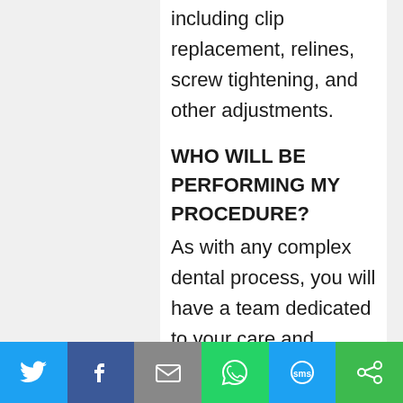including clip replacement, relines, screw tightening, and other adjustments.
WHO WILL BE PERFORMING MY PROCEDURE?
As with any complex dental process, you will have a team dedicated to your care and ensuring the best possible results. Your team will include our office and clinical staff, and we may even call in specialists to perform or advise on various stages of the
Social share bar: Twitter, Facebook, Email, WhatsApp, SMS, Other